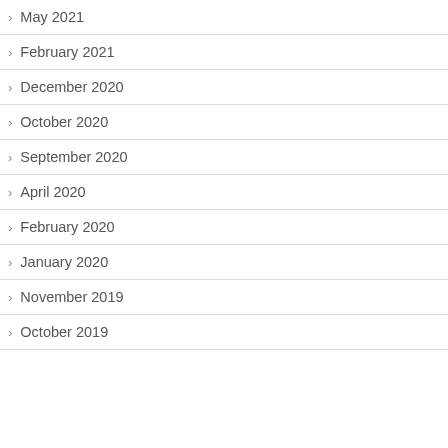May 2021
February 2021
December 2020
October 2020
September 2020
April 2020
February 2020
January 2020
November 2019
October 2019